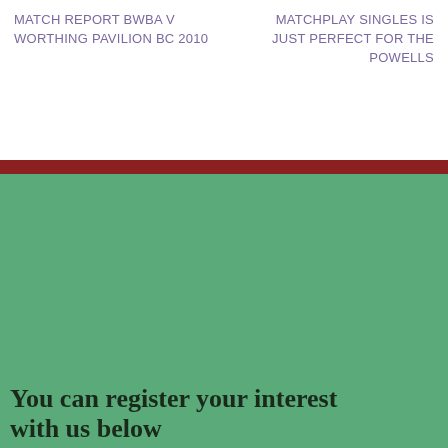MATCH REPORT BWBA V Worthing Pavilion BC 2010
MATCHPLAY SINGLES IS JUST PERFECT FOR THE POWELLS
[Figure (other): Large green rectangular background area filling most of the lower portion of the page]
You can register your interest with us below